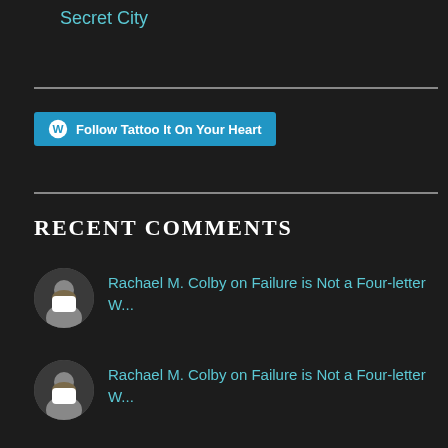Secret City
[Figure (other): Follow Tattoo It On Your Heart button with WordPress logo]
RECENT COMMENTS
Rachael M. Colby on Failure is Not a Four-letter W...
Rachael M. Colby on Failure is Not a Four-letter W...